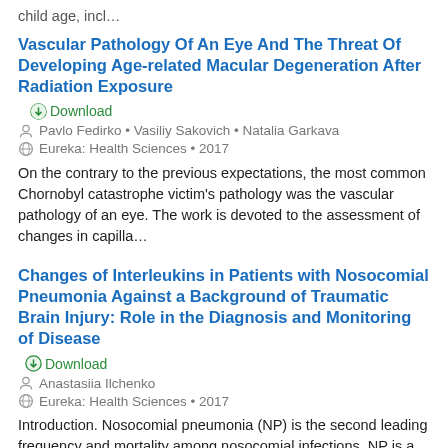child age, incl…
Vascular Pathology Of An Eye And The Threat Of Developing Age-related Macular Degeneration After Radiation Exposure
⊕ Download
👤 Pavlo Fedirko • Vasiliy Sakovich • Natalia Garkava
🌐 Eureka: Health Sciences • 2017
On the contrary to the previous expectations, the most common Chornobyl catastrophe victim's pathology was the vascular pathology of an eye. The work is devoted to the assessment of changes in capilla…
Changes of Interleukins in Patients with Nosocomial Pneumonia Against a Background of Traumatic Brain Injury: Role in the Diagnosis and Monitoring of Disease
⊕ Download
👤 Anastasiia Ilchenko
🌐 Eureka: Health Sciences • 2017
Introduction. Nosocomial pneumonia (NP) is the second leading frequency and mortality among nosocomial infections. NP is a frequent complication of severe traumatic brain injury (TBI). The difficulty …